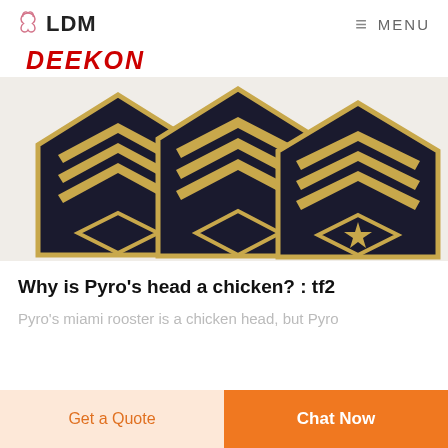LDM   MENU
DEEKON
[Figure (photo): Three military rank chevron patches side by side on white background — showing sergeant, master sergeant, and sergeant major rank insignia with gold and black embroidery]
Why is Pyro's head a chicken? : tf2
Pyro's miami rooster is a chicken head, but Pyro
Get a Quote
Chat Now